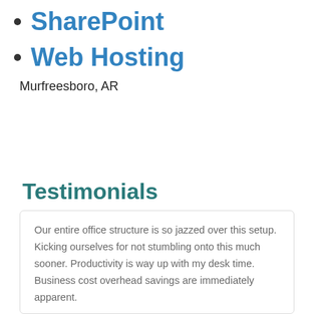SharePoint
Web Hosting
Murfreesboro, AR
Testimonials
Our entire office structure is so jazzed over this setup. Kicking ourselves for not stumbling onto this much sooner. Productivity is way up with my desk time. Business cost overhead savings are immediately apparent.